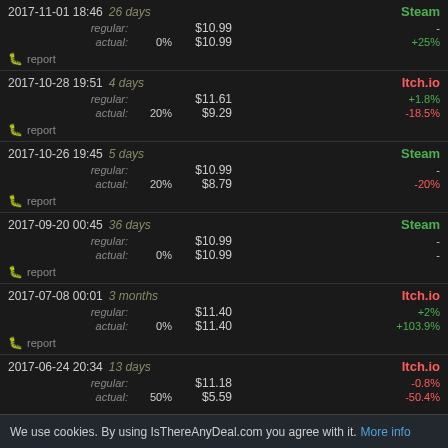| Date/Duration | Type | Discount | Price | Store | Change |
| --- | --- | --- | --- | --- | --- |
| 2017-11-01 18:46 26 days | regular: |  | $10.99 | Steam | - |
|  | actual: | 0% | $10.99 |  | +25% |
|  | report |  |  |  |  |
| 2017-10-28 19:51 4 days | regular: |  | $11.61 | Itch.io | +1.8% |
|  | actual: | 20% | $9.29 |  | -18.5% |
|  | report |  |  |  |  |
| 2017-10-26 19:45 5 days | regular: |  | $10.99 | Steam | - |
|  | actual: | 20% | $8.79 |  | -20% |
|  | report |  |  |  |  |
| 2017-09-20 00:45 36 days | regular: |  | $10.99 | Steam | - |
|  | actual: | 0% | $10.99 |  | - |
|  | report |  |  |  |  |
| 2017-07-08 00:01 3 months | regular: |  | $11.40 | Itch.io | +2% |
|  | actual: | 0% | $11.40 |  | +103.9% |
|  | report |  |  |  |  |
| 2017-06-24 20:34 13 days | regular: |  | $11.18 | Itch.io | -0.8% |
|  | actual: | 50% | $5.59 |  | -50.4% |
We use cookies. By using IsThereAnyDeal.com you agree with it. More info